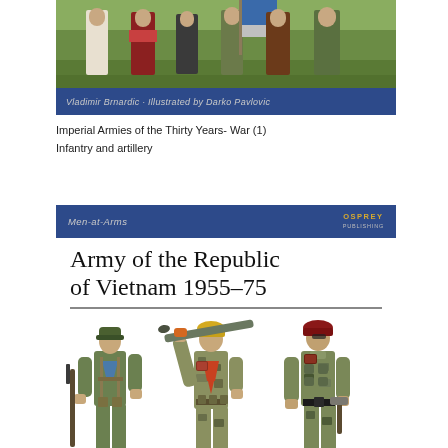[Figure (illustration): Top portion of Osprey Men-at-Arms book cover showing historical military figures in period costume on green background, with blue banner reading 'Vladimir Brnardic · Illustrated by Darko Pavlovic']
Imperial Armies of the Thirty Years- War (1)
Infantry and artillery
[Figure (illustration): Osprey Men-at-Arms book cover 'Army of the Republic of Vietnam 1955-75' showing three soldiers in various ARVN uniforms and equipment against white background, with blue header banner showing series name and Osprey Publishing logo]